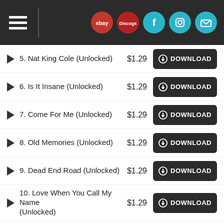Navigation header with hamburger menu and social icons: eBay, Discogs, Facebook, Instagram, Email
5. Nat King Cole (Unlocked)  $1.29  DOWNLOAD
6. Is It Insane (Unlocked)  $1.29  DOWNLOAD
7. Come For Me (Unlocked)  $1.29  DOWNLOAD
8. Old Memories (Unlocked)  $1.29  DOWNLOAD
9. Dead End Road (Unlocked)  $1.29  DOWNLOAD
10. Love When You Call My Name (Unlocked)  $1.29  DOWNLOAD
11. Daffodils (Unlocked)  $1.29  DOWNLOAD
12. Billions (Unlocked)  $1.29  DOWNLOAD